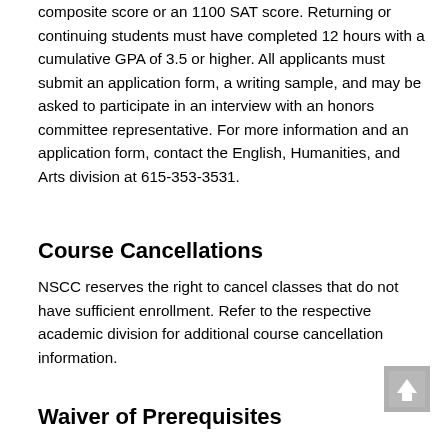composite score or an 1100 SAT score. Returning or continuing students must have completed 12 hours with a cumulative GPA of 3.5 or higher. All applicants must submit an application form, a writing sample, and may be asked to participate in an interview with an honors committee representative. For more information and an application form, contact the English, Humanities, and Arts division at 615-353-3531.
Course Cancellations
NSCC reserves the right to cancel classes that do not have sufficient enrollment. Refer to the respective academic division for additional course cancellation information.
Waiver of Prerequisites